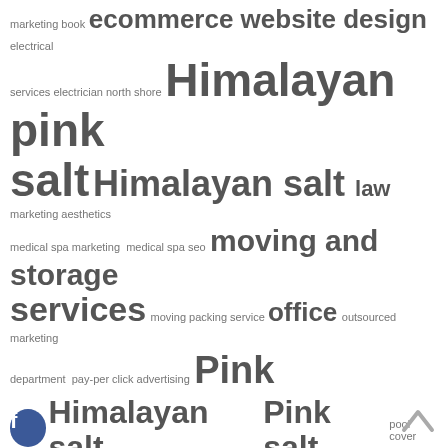[Figure (infographic): Tag cloud / word cloud showing various SEO and marketing related keywords in different font sizes indicating frequency/importance, with social media icons (Facebook, Google+, Twitter, Add) on the left side. Keywords include: marketing book, ecommerce website design, electrical services electrician north shore, Himalayan pink salt, Himalayan salt, law, marketing aesthetics, medical spa marketing, medical spa seo, moving and storage services, moving packing service, office, outsourced marketing department, pay-per click advertising, Pink Himalayan salt, Pink salt, pool cover, pure Dead Sea salt, retractable pool cover, seo agency, seo book, seo books, treadmills, truffle salt, truffle sea salt, Upholstery Cleaning, web design, web design company, Web Design Services]